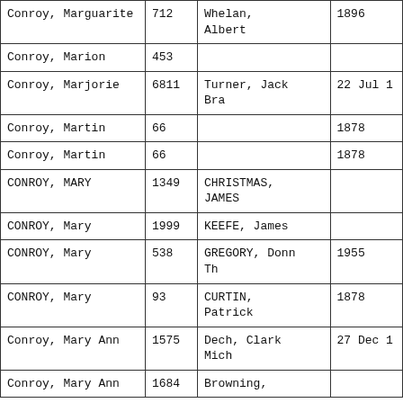| Conroy, Marguarite | 712 | Whelan, Albert | 1896 |
| Conroy, Marion | 453 |  |  |
| Conroy, Marjorie | 6811 | Turner, Jack Bra | 22 Jul 1 |
| Conroy, Martin | 66 |  | 1878 |
| Conroy, Martin | 66 |  | 1878 |
| CONROY, MARY | 1349 | CHRISTMAS, JAMES |  |
| CONROY, Mary | 1999 | KEEFE, James |  |
| CONROY, Mary | 538 | GREGORY, Donn Th | 1955 |
| CONROY, Mary | 93 | CURTIN, Patrick | 1878 |
| Conroy, Mary Ann | 1575 | Dech, Clark Mich | 27 Dec 1 |
| Conroy, Mary Ann | 1684 | Browning, |  |